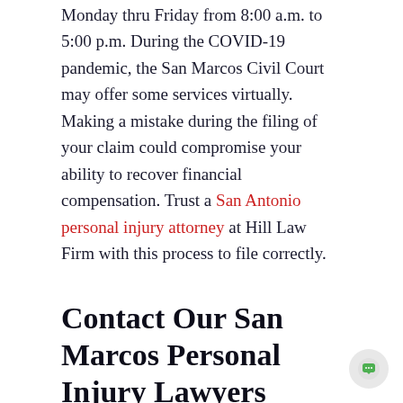Monday thru Friday from 8:00 a.m. to 5:00 p.m. During the COVID-19 pandemic, the San Marcos Civil Court may offer some services virtually. Making a mistake during the filing of your claim could compromise your ability to recover financial compensation. Trust a San Antonio personal injury attorney at Hill Law Firm with this process to file correctly.
Contact Our San Marcos Personal Injury Lawyers Today
If you or somebody you care about has sustained an injury caused by the negligent or intentional actions of another individual or entity in San